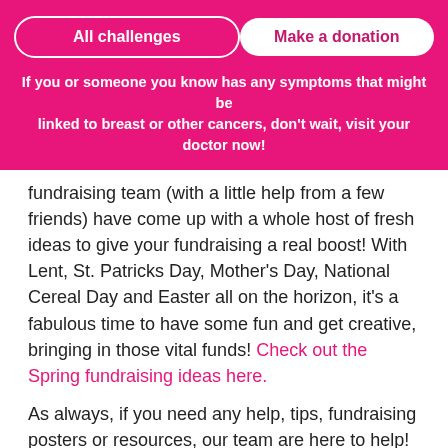All challenges | Make a donation
If you or someone you know has any symptoms that might be linked to breast or other cancers, don't wait, visit your doctor now!
fundraising team (with a little help from a few friends) have come up with a whole host of fresh ideas to give your fundraising a real boost! With Lent, St. Patricks Day, Mother's Day, National Cereal Day and Easter all on the horizon, it's a fabulous time to have some fun and get creative, bringing in those vital funds! Check out the Spring fundraising ideas here.
As always, if you need any help, tips, fundraising posters or resources, our team are here to help! Just get in touch at